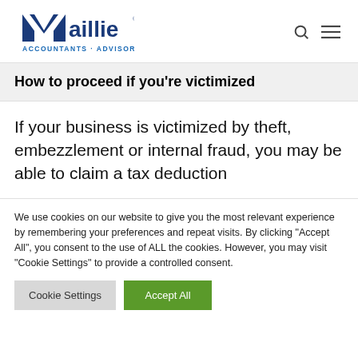[Figure (logo): Maillie Accountants Advisors logo with blue M and text]
How to proceed if you’re victimized
If your business is victimized by theft, embezzlement or internal fraud, you may be able to claim a tax deduction
We use cookies on our website to give you the most relevant experience by remembering your preferences and repeat visits. By clicking “Accept All”, you consent to the use of ALL the cookies. However, you may visit "Cookie Settings" to provide a controlled consent.